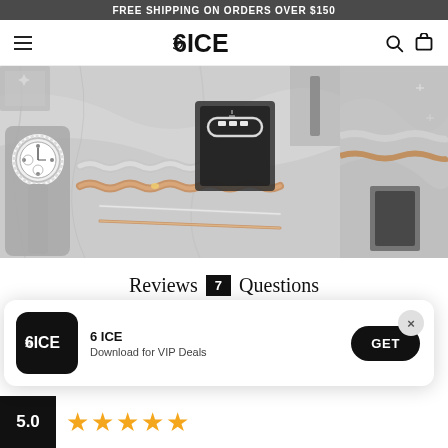FREE SHIPPING ON ORDERS OVER $150
[Figure (logo): 6ICE jewelry brand logo with hamburger menu, search and cart icons in navigation bar]
[Figure (photo): Overhead photo of luxury jewelry including a watch, silver and rose gold Cuban link chains, a bracelet on a display stand, on a marble surface]
Reviews 7   Questions
[Figure (screenshot): App download popup banner with 6ICE logo, text '6 ICE / Download for VIP Deals', GET button, and X close button]
5.0 ★★★★★